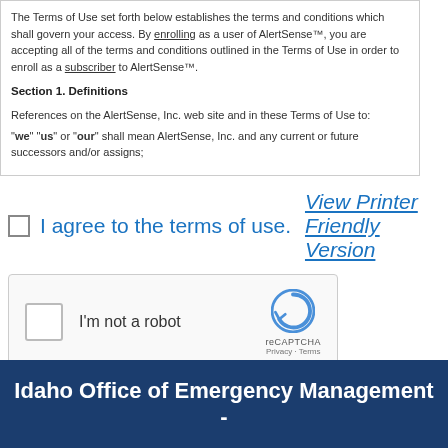The Terms of Use set forth below establishes the terms and conditions which shall govern your access. By enrolling as a user of AlertSense™, you are accepting all of the terms and conditions outlined in the Terms of Use in order to enroll as a subscriber to AlertSense™.
Section 1. Definitions
References on the AlertSense, Inc. web site and in these Terms of Use to:
"we" "us" or "our" shall mean AlertSense, Inc. and any current or future successors and/or assigns;
I agree to the terms of use.  View Printer Friendly Version
[Figure (screenshot): reCAPTCHA widget with checkbox labeled I'm not a robot, reCAPTCHA logo, Privacy and Terms links]
Sign Me Up   Cancel
Idaho Office of Emergency Management -